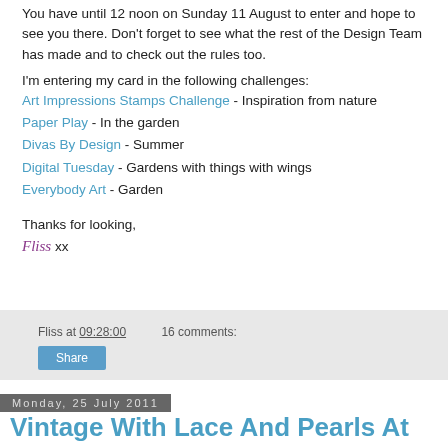You have until 12 noon on Sunday 11 August to enter and hope to see you there. Don't forget to see what the rest of the Design Team has made and to check out the rules too.
I'm entering my card in the following challenges:
Art Impressions Stamps Challenge - Inspiration from nature
Paper Play - In the garden
Divas By Design - Summer
Digital Tuesday - Gardens with things with wings
Everybody Art - Garden
Thanks for looking,
Fliss xx
Fliss at 09:28:00   16 comments:  Share
Monday, 25 July 2011
Vintage With Lace And Pearls At Make My Monday